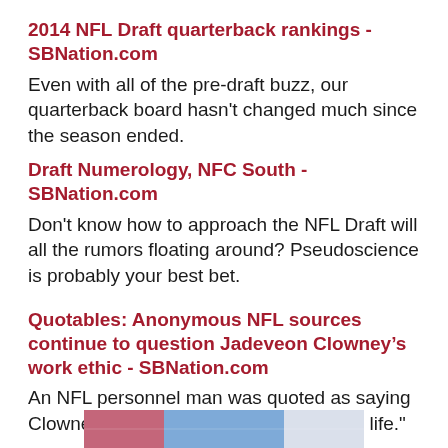2014 NFL Draft quarterback rankings - SBNation.com
Even with all of the pre-draft buzz, our quarterback board hasn't changed much since the season ended.
Draft Numerology, NFC South - SBNation.com
Don't know how to approach the NFL Draft will all the rumors floating around? Pseudoscience is probably your best bet.
Quotables: Anonymous NFL sources continue to question Jadeveon Clowney’s work ethic - SBNation.com
An NFL personnel man was quoted as saying Clowney has "never worked a day in his life."
[Figure (photo): Partial photo at the bottom of the page, appears to show sports-related imagery with red and blue colors]